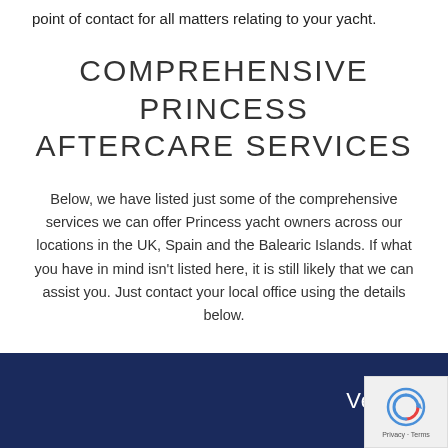point of contact for all matters relating to your yacht.
COMPREHENSIVE PRINCESS AFTERCARE SERVICES
Below, we have listed just some of the comprehensive services we can offer Princess yacht owners across our locations in the UK, Spain and the Balearic Islands. If what you have in mind isn't listed here, it is still likely that we can assist you. Just contact your local office using the details below.
Vessel Servicing